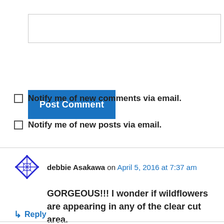[Figure (screenshot): Empty text input box for comment entry]
Post Comment
Notify me of new comments via email.
Notify me of new posts via email.
debbie Asakawa on April 5, 2016 at 7:37 am
GORGEOUS!!! I wonder if wildflowers are appearing in any of the clear cut area.
Like
Reply